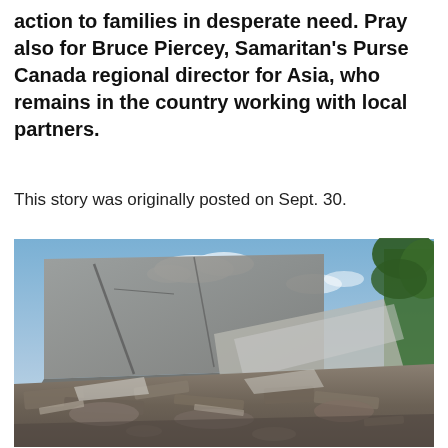action to families in desperate need. Pray also for Bruce Piercey, Samaritan's Purse Canada regional director for Asia, who remains in the country working with local partners.
This story was originally posted on Sept. 30.
[Figure (photo): Photograph of a collapsed building with rubble and debris in the foreground. A large concrete structure has partially collapsed. Blue sky with light clouds visible in the background, and green trees visible on the right side.]